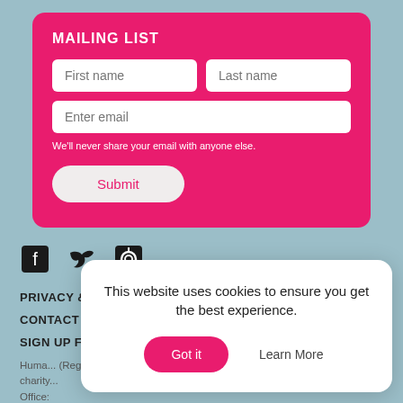MAILING LIST
First name
Last name
Enter email
We'll never share your email with anyone else.
Submit
[Figure (infographic): Social media icons: Facebook, Twitter, RSS feed]
PRIVACY & COOKIES
CONTACT US
SIGN UP FOR THE NEWSLETTER
Huma... (Regist... Intern... (UK) charity... ncipal Office:
This website uses cookies to ensure you get the best experience.
Got it
Learn More